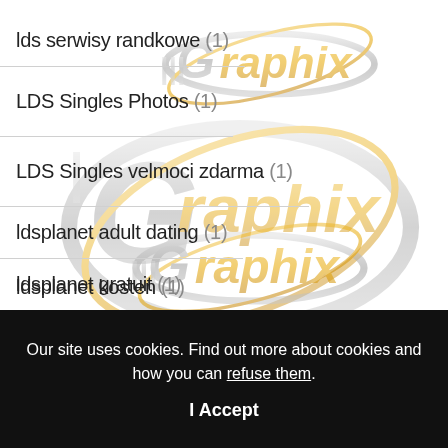lds serwisy randkowe (1)
LDS Singles Photos (1)
LDS Singles velmoci zdarma (1)
ldsplanet adult dating (1)
ldsplanet gratuit (1)
ldsplanet kosten (1)
[Figure (logo): III Graphix logo with gold and silver lettering and orbital ring design, repeated/watermarked across the page background]
Our site uses cookies. Find out more about cookies and how you can refuse them.
I Accept